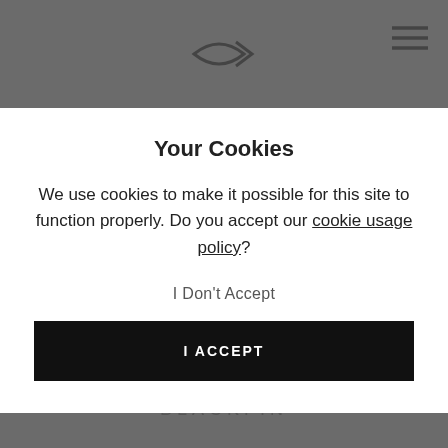Blackfin logo and navigation menu icon
Your Cookies
We use cookies to make it possible for this site to function properly. Do you accept our cookie usage policy?
I Don't Accept
I ACCEPT
especially for you, unless they prove to be defective upon receipt.
BLACKFIN